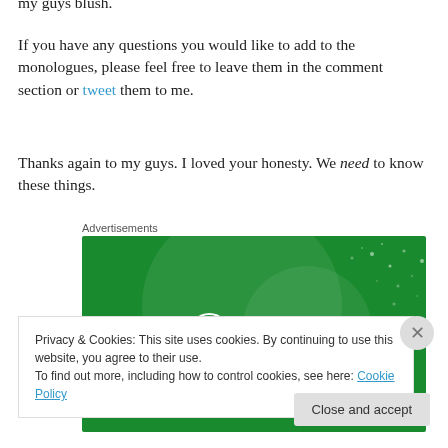my guys blush.
If you have any questions you would like to add to the monologues, please feel free to leave them in the comment section or tweet them to me.
Thanks again to my guys. I loved your honesty. We need to know these things.
Advertisements
[Figure (illustration): Jetpack advertisement banner with green background, white Jetpack logo (circle with lightning bolt) and 'Jetpack' text]
Privacy & Cookies: This site uses cookies. By continuing to use this website, you agree to their use.
To find out more, including how to control cookies, see here: Cookie Policy
Close and accept